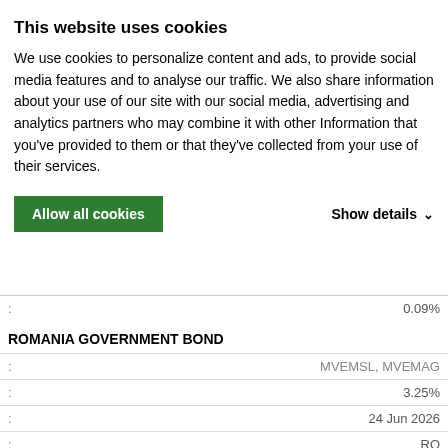This website uses cookies
We use cookies to personalize content and ads, to provide social media features and to analyse our traffic. We also share information about your use of our site with our social media, advertising and analytics partners who may combine it with other Information that you've provided to them or that they've collected from your use of their services.
Allow all cookies
Show details
|  |  |
| --- | --- |
| : | 0.09% |
ROMANIA GOVERNMENT BOND
|  |  |
| --- | --- |
| : | MVEMSL, MVEMAG |
| : | 3.25% |
| : | 24 Jun 2026 |
| : | RO |
| : | 0.09% |
CZECH REPUBLIC
|  |  |
| --- | --- |
| : | MVEMAG, MVEMSL |
| : | 1.00% |